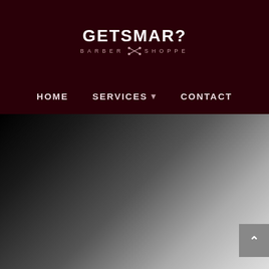[Figure (logo): GetSmar? barber shoppe logo — stylized white hand-lettered text on dark maroon background with crossed scissors below]
HOME   SERVICES ▾   CONTACT
[Figure (photo): Dark gradient background fading from black on the left to light grey on the right, with a grey back-to-top button (upward chevron) in the bottom right corner]